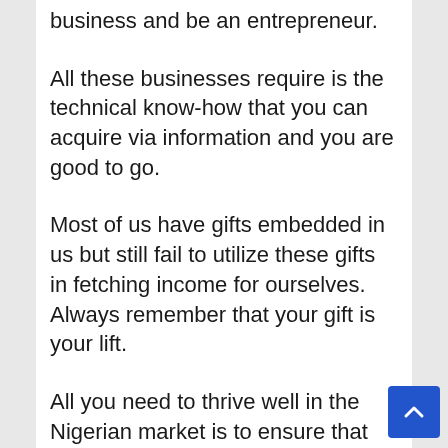business and be an entrepreneur.
All these businesses require is the technical know-how that you can acquire via information and you are good to go.
Most of us have gifts embedded in us but still fail to utilize these gifts in fetching income for ourselves. Always remember that your gift is your lift.
All you need to thrive well in the Nigerian market is to ensure that you have what to deliver and learn to improve on what you know.
This is because the market is growing more competitive every day.  You could easily conduct your research and build your capacity